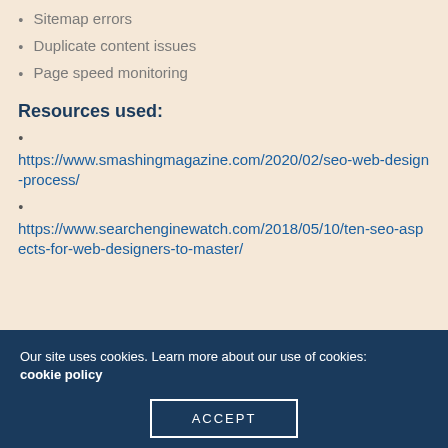Sitemap errors
Duplicate content issues
Page speed monitoring
Resources used:
https://www.smashingmagazine.com/2020/02/seo-web-design-process/
https://www.searchenginewatch.com/2018/05/10/ten-seo-aspects-for-web-designers-to-master/
Our site uses cookies. Learn more about our use of cookies: cookie policy
ACCEPT